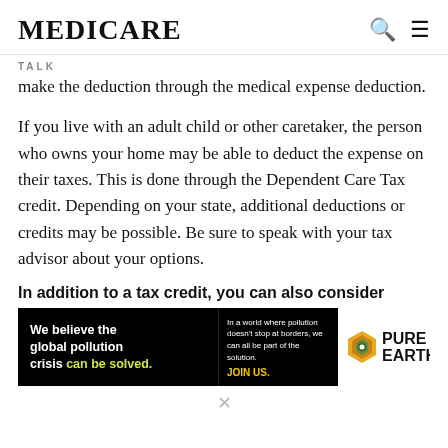MEDICARE
TALK
make the deduction through the medical expense deduction.
If you live with an adult child or other caretaker, the person who owns your home may be able to deduct the expense on their taxes. This is done through the Dependent Care Tax credit. Depending on your state, additional deductions or credits may be possible. Be sure to speak with your tax advisor about your options.
In addition to a tax credit, you can also consider
[Figure (infographic): Advertisement for Pure Earth organization. Black background with white bold text: 'We believe the global pollution crisis can be solved.' with 'can be solved.' in green/yellow. Right side white panel with Pure Earth diamond logo and bold text 'PURE EARTH'. Center black panel with small white text: 'In a world where pollution doesn't stop at borders, we can all be part of the solution.' and 'JOIN US.' in yellow.]
✕